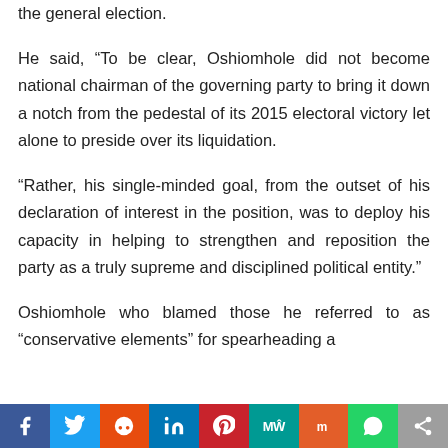the general election.
He said, “To be clear, Oshiomhole did not become national chairman of the governing party to bring it down a notch from the pedestal of its 2015 electoral victory let alone to preside over its liquidation.
“Rather, his single-minded goal, from the outset of his declaration of interest in the position, was to deploy his capacity in helping to strengthen and reposition the party as a truly supreme and disciplined political entity.”
Oshiomhole who blamed those he referred to as “conservative elements” for spearheading a